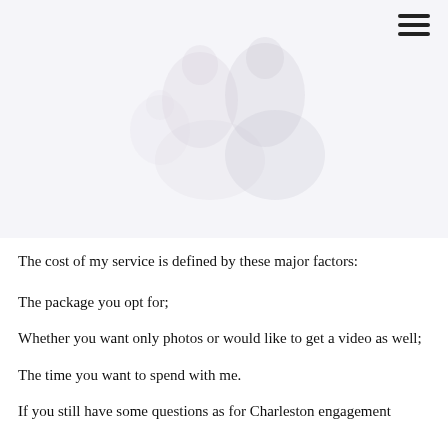[Figure (photo): Faded/light photograph of a couple or family group, appearing to be an engagement or portrait photo. Very light, almost white background with subtle gray tones showing people seated together.]
The cost of my service is defined by these major factors:
The package you opt for;
Whether you want only photos or would like to get a video as well;
The time you want to spend with me.
If you still have some questions as for Charleston engagement